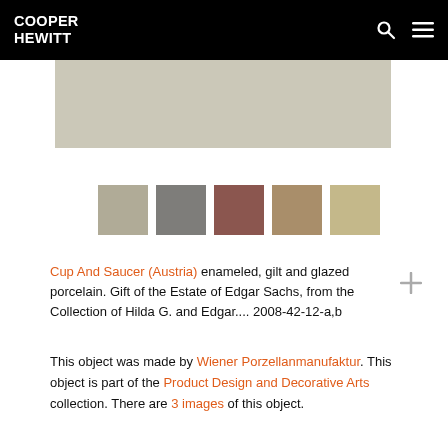COOPER HEWITT
[Figure (photo): Partial image of a Cup and Saucer object, showing a light beige/cream colored surface]
[Figure (infographic): Five color swatches extracted from the object: warm gray, cool gray, muted reddish-brown, tan/khaki, light tan]
Cup And Saucer (Austria) enameled, gilt and glazed porcelain. Gift of the Estate of Edgar Sachs, from the Collection of Hilda G. and Edgar.... 2008-42-12-a,b
This object was made by Wiener Porzellanmanufaktur. This object is part of the Product Design and Decorative Arts collection. There are 3 images of this object.